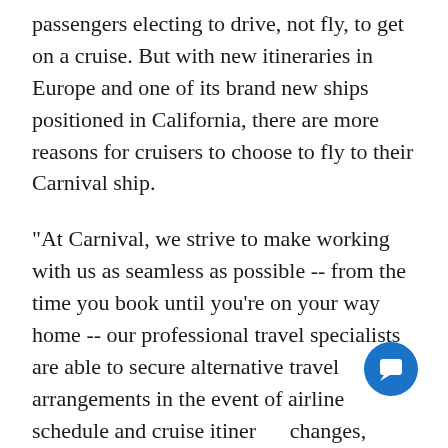passengers electing to drive, not fly, to get on a cruise. But with new itineraries in Europe and one of its brand new ships positioned in California, there are more reasons for cruisers to choose to fly to their Carnival ship.
"At Carnival, we strive to make working with us as seamless as possible -- from the time you book until you're on your way home -- our professional travel specialists are able to secure alternative travel arrangements in the event of airline schedule and cruise itinerary changes, providing our guests with peace of mind," said Carnival's director of travel